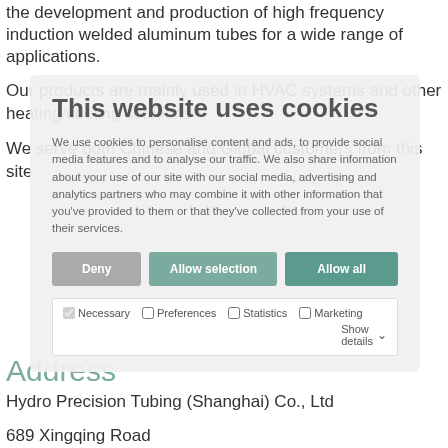the development and production of high frequency induction welded aluminum tubes for a wide range of applications.
Our products are mainly used in HVAC systems and other heating/cooling solutions.
We serve both Chinese and Global customers from this site.
[Figure (screenshot): Cookie consent dialog overlay with title 'This website uses cookies', description text about personalising content and ads, three buttons: Deny, Allow selection, Allow all, and checkboxes for Necessary, Preferences, Statistics, Marketing with Show details dropdown]
Address
Hydro Precision Tubing (Shanghai) Co., Ltd
689 Xingqing Road
Jiading District